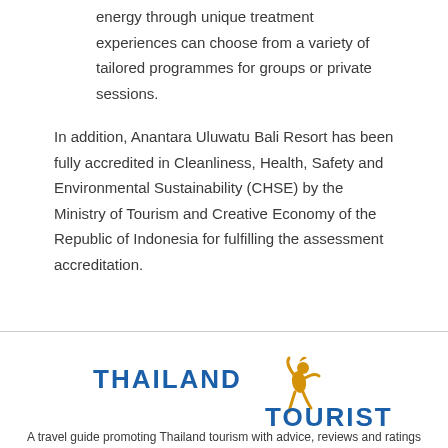energy through unique treatment experiences can choose from a variety of tailored programmes for groups or private sessions.
In addition, Anantara Uluwatu Bali Resort has been fully accredited in Cleanliness, Health, Safety and Environmental Sustainability (CHSE) by the Ministry of Tourism and Creative Economy of the Republic of Indonesia for fulfilling the assessment accreditation.
[Figure (logo): Thailand Tourist logo with golden figure and blue text reading THAILAND TOURIST]
A travel guide promoting Thailand tourism with advice, reviews and ratings on hotels, resorts, tours, and lots more!
About Us | Contact | Send Us a Tip | Advertising Guide | Ethics Statement | Site Map | Privacy Policy | Terms of Service